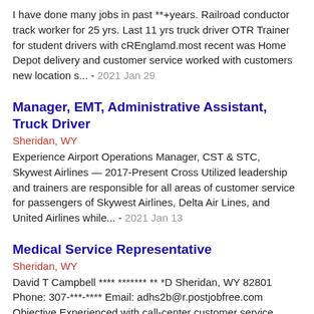I have done many jobs in past **+years. Railroad conductor track worker for 25 yrs. Last 11 yrs truck driver OTR Trainer for student drivers with cREnglamd.most recent was Home Depot delivery and customer service worked with customers new location s... - 2021 Jan 29
Manager, EMT, Administrative Assistant, Truck Driver
Sheridan, WY
Experience Airport Operations Manager, CST & STC, Skywest Airlines — 2017-Present Cross Utilized leadership and trainers are responsible for all areas of customer service for passengers of Skywest Airlines, Delta Air Lines, and United Airlines while... - 2021 Jan 13
Medical Service Representative
Sheridan, WY
David T Campbell **** ******* ** *D Sheridan, WY 82801 Phone: 307-***-**** Email: adhs2b@r.postjobfree.com Objective Experienced with call-center customer service communicating with members and providers Knowledgeable with the medical claims process... - 2020 Nov 13